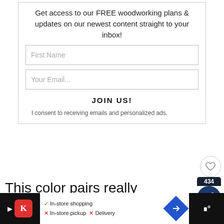Get access to our FREE woodworking plans & updates on our newest content straight to your inbox!
[Figure (screenshot): Email signup form with First Name and Your Email fields, JOIN US button, and consent text]
I consent to receiving emails and personalized ads.
This color pairs really well with white cabinetry and trim. It also looks great with marble counters or tile!
[Figure (infographic): What's Next badge showing Repose Gray Coordinatin...]
[Figure (screenshot): Advertisement bar at bottom: Michael's store ad with In-store shopping checkmark, In-store pickup X, Delivery X]